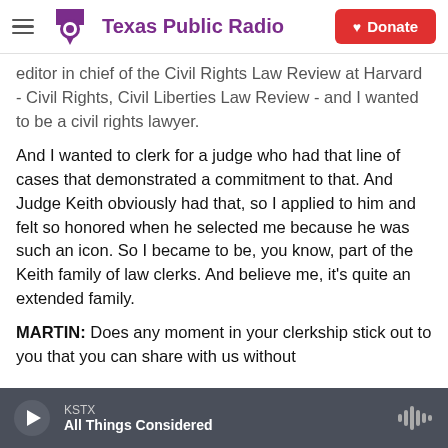Texas Public Radio | Donate
editor in chief of the Civil Rights Law Review at Harvard - Civil Rights, Civil Liberties Law Review - and I wanted to be a civil rights lawyer.
And I wanted to clerk for a judge who had that line of cases that demonstrated a commitment to that. And Judge Keith obviously had that, so I applied to him and felt so honored when he selected me because he was such an icon. So I became to be, you know, part of the Keith family of law clerks. And believe me, it's quite an extended family.
MARTIN: Does any moment in your clerkship stick out to you that you can share with us without
KSTX | All Things Considered